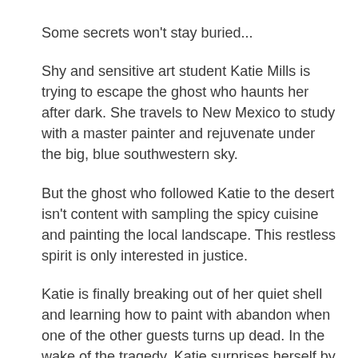Some secrets won't stay buried...
Shy and sensitive art student Katie Mills is trying to escape the ghost who haunts her after dark. She travels to New Mexico to study with a master painter and rejuvenate under the big, blue southwestern sky.
But the ghost who followed Katie to the desert isn't content with sampling the spicy cuisine and painting the local landscape. This restless spirit is only interested in justice.
Katie is finally breaking out of her quiet shell and learning how to paint with abandon when one of the other guests turns up dead. In the wake of the tragedy, Katie surprises herself by finding comfort in a fellow artist's arms. But as new evidence surfaces and suspicion broadens, Katie doesn't know who to trust.
And now, the vengeful ghost she brought with her is